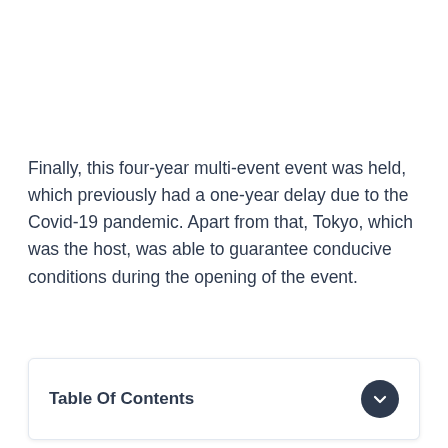Finally, this four-year multi-event event was held, which previously had a one-year delay due to the Covid-19 pandemic. Apart from that, Tokyo, which was the host, was able to guarantee conducive conditions during the opening of the event.
Table Of Contents